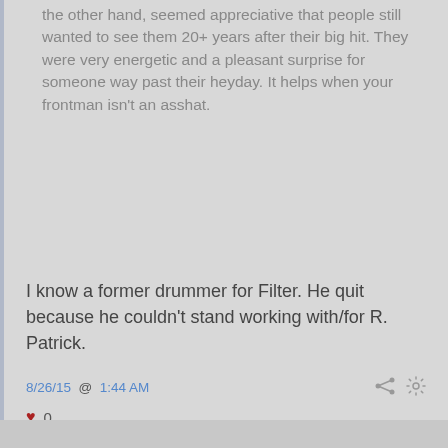the other hand, seemed appreciative that people still wanted to see them 20+ years after their big hit. They were very energetic and a pleasant surprise for someone way past their heyday. It helps when your frontman isn't an asshat.
I know a former drummer for Filter. He quit because he couldn't stand working with/for R. Patrick.
8/26/15 @ 1:44 AM
0